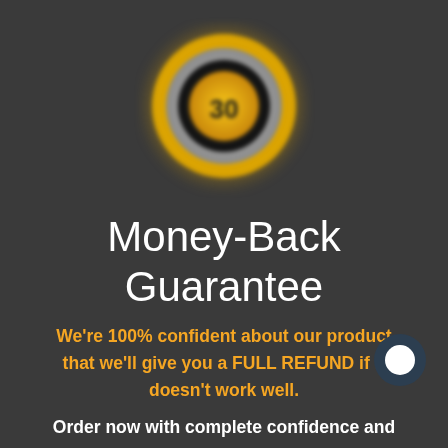[Figure (logo): A blurred circular gold and silver badge/seal with '30' visible in the center, suggesting a 30-day money-back guarantee seal]
Money-Back Guarantee
We're 100% confident about our product that we'll give you a FULL REFUND if it doesn't work well.
Order now with complete confidence and